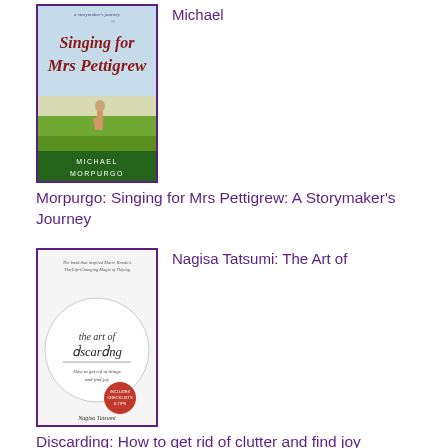[Figure (illustration): Book cover: Singing for Mrs Pettigrew by Michael Morpurgo. Shows a child figure on a grassy landscape with stylized title text.]
Michael
Morpurgo: Singing for Mrs Pettigrew: A Storymaker's Journey
[Figure (illustration): Book cover: The Art of Discarding by Nagisa Tatsumi. White cover with circular design and italic title text.]
Nagisa Tatsumi: The Art of
Discarding: How to get rid of clutter and find joy